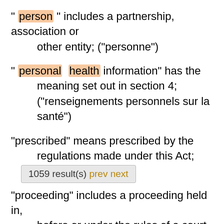" person " includes a partnership, association or other entity; ("personne")
" personal health information" has the meaning set out in section 4; ("renseignements personnels sur la santé")
"prescribed" means prescribed by the regulations made under this Act; ("prescrit")
"proceeding" includes a proceeding held in, before or under the rules of a court, a tribunal, a commission, a justice of the peace, a coroner, a committee of a College within the meaning of the Regulated Health Professions Act, 1991, a committee of the Board of Regents continued under the Drugless Practitioners Act, a committee of
1059 result(s) prev next